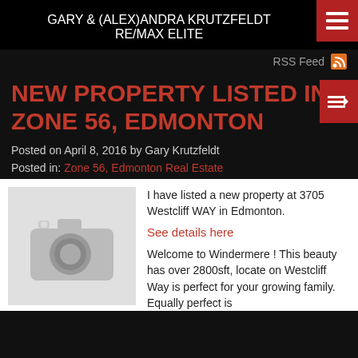GARY & (ALEX)ANDRA KRUTZFELDT
RE/MAX ELITE
RSS Feed
NEW PROPERTY LISTED IN ZONE 56, EDMONTON
Posted on April 8, 2016 by Gary Krutzfeldt
Posted in: Zone 56, Edmonton Real Estate
[Figure (photo): Placeholder camera icon image in grey]
I have listed a new property at 3705 Westcliff WAY in Edmonton.

See details here

Welcome to Windermere ! This beauty has over 2800sft, locate on Westcliff Way is perfect for your growing family. Equally perfect is